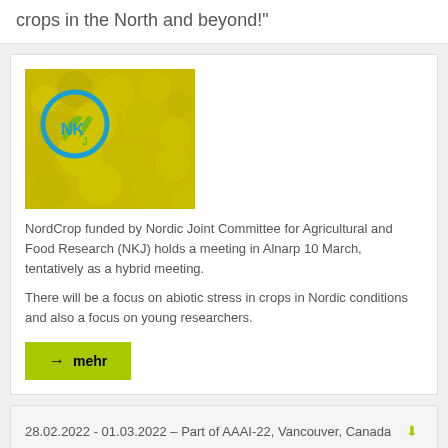crops in the North and beyond!"
[Figure (photo): NordCrop logo (blue and green circular NKJ emblem) overlaid on a field of yellow flowering rapeseed/canola crops]
NordCrop funded by Nordic Joint Committee for Agricultural and Food Research (NKJ) holds a meeting in Alnarp 10 March, tentatively as a hybrid meeting.
There will be a focus on abiotic stress in crops in Nordic conditions and also a focus on young researchers.
→ mehr
28.02.2022 - 01.03.2022 – Part of AAAI-22, Vancouver, Canada   iCal herunterladen
AI for Agriculture and Food Systems